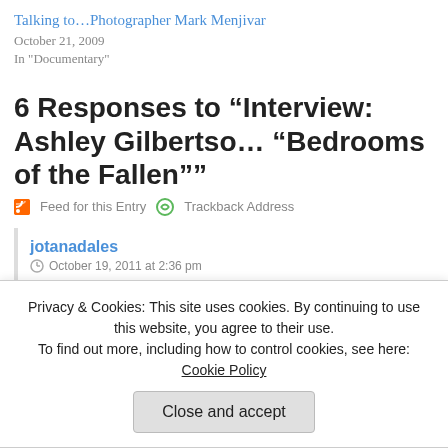Talking to…Photographer Mark Menjivar
October 21, 2009
In "Documentary"
6 Responses to “Interview: Ashley Gilbertson “Bedrooms of the Fallen””
Feed for this Entry   Trackback Address
jotanadales
October 19, 2011 at 2:36 pm
Privacy & Cookies: This site uses cookies. By continuing to use this website, you agree to their use.
To find out more, including how to control cookies, see here: Cookie Policy
Close and accept